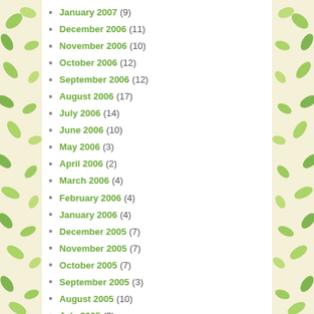January 2007 (9)
December 2006 (11)
November 2006 (10)
October 2006 (12)
September 2006 (12)
August 2006 (17)
July 2006 (14)
June 2006 (10)
May 2006 (3)
April 2006 (2)
March 2006 (4)
February 2006 (4)
January 2006 (4)
December 2005 (7)
November 2005 (7)
October 2005 (7)
September 2005 (3)
August 2005 (10)
July 2005 (3)
January 2001 (2)